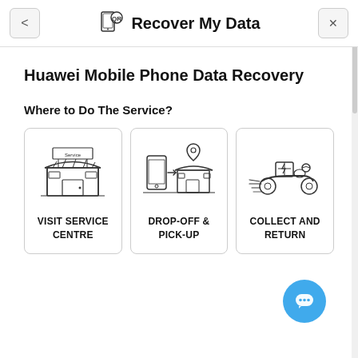Recover My Data
Huawei Mobile Phone Data Recovery
Where to Do The Service?
[Figure (illustration): Three service option cards: 1) VISIT SERVICE CENTRE with a store/shop front icon, 2) DROP-OFF & PICK-UP with a phone, location pin and storefront icon, 3) COLLECT AND RETURN with a delivery motorcycle courier icon]
[Figure (other): Blue circular chat button with speech bubble icon in bottom right corner]